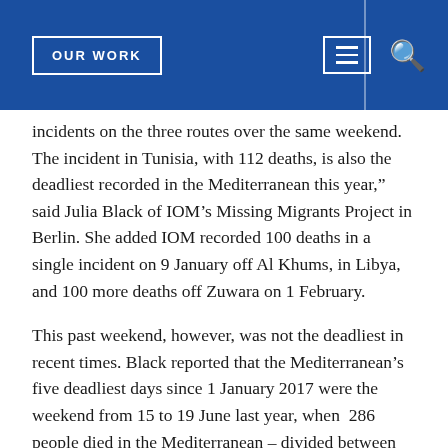OUR WORK
incidents on the three routes over the same weekend. The incident in Tunisia, with 112 deaths, is also the deadliest recorded in the Mediterranean this year,” said Julia Black of IOM’s Missing Migrants Project in Berlin. She added IOM recorded 100 deaths in a single incident on 9 January off Al Khums, in Libya, and 100 more deaths off Zuwara on 1 February.
This past weekend, however, was not the deadliest in recent times. Black reported that the Mediterranean’s five deadliest days since 1 January 2017 were the weekend from 15 to 19 June last year, when 286 people died in the Mediterranean – divided between 281 on the Central Mediterranean route linking North Africa to Italy, and five in the waters of the Western Mediterranean linking Africa with Spain.